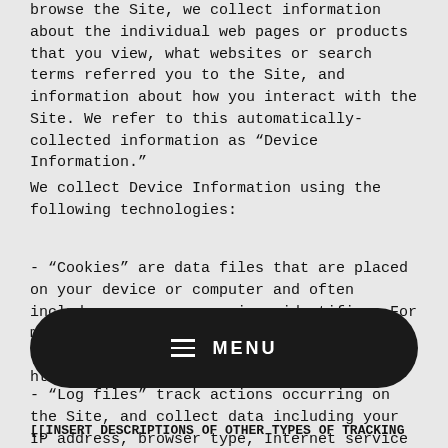browse the Site, we collect information about the individual web pages or products that you view, what websites or search terms referred you to the Site, and information about how you interact with the Site. We refer to this automatically-collected information as "Device Information."
We collect Device Information using the following technologies:
- "Cookies" are data files that are placed on your device or computer and often include an anonymous unique identifier. For more information about cookies, and how to disable cookies, visit http://www.allaboutcookies.org.
- "Log files" track actions occurring on the Site, and collect data including your IP address, browser type, Internet service p...
[[INSERT DESCRIPTIONS OF OTHER TYPES OF TRACKING